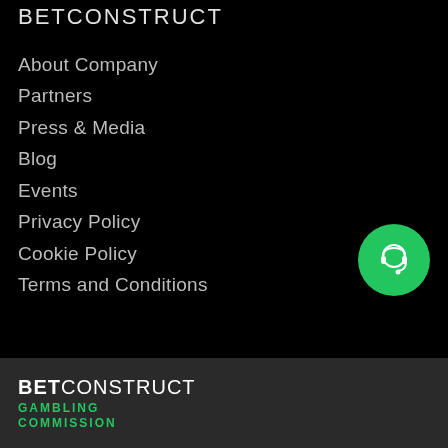BETCONSTRUCT
About Company
Partners
Press & Media
Blog
Events
Privacy Policy
Cookie Policy
Terms and Conditions
[Figure (illustration): Green circular customer support / headset icon button]
BETCONSTRUCT GAMBLING COMMISSION